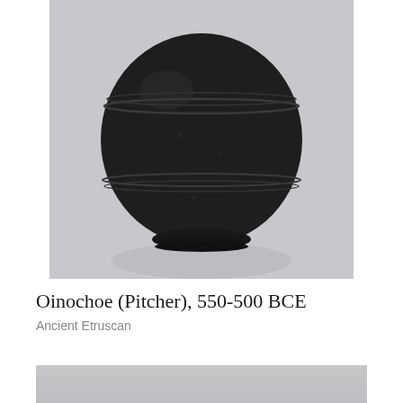[Figure (photo): A black ancient Etruscan oinochoe (pitcher) with a spherical body and small foot ring, photographed against a pale grey background. The vessel is dark/black-glazed with subtle horizontal banding lines visible near the shoulder.]
Oinochoe (Pitcher), 550-500 BCE
Ancient Etruscan
[Figure (photo): Partial view of another artifact on a light grey background — only the top portion is visible, cropped at the bottom of the page.]